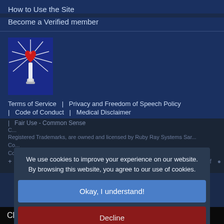How to Use the Site
Become a Verified member
[Figure (logo): Ruby Ray Systems logo: a red heart gem on a torch with rays of light, blue background]
Terms of Service  |  Privacy and Freedom of Speech Policy  |  Code of Conduct  |  Medical Disclaimer
| Fair Use - Common Sense
Registered Trademarks, are owned and licensed by Ruby Ray Systems Sara...
We use cookies to improve your experience on our website. By browsing this website, you agree to our use of cookies.
Okay, I understand!
Decline
More Info
Close menu